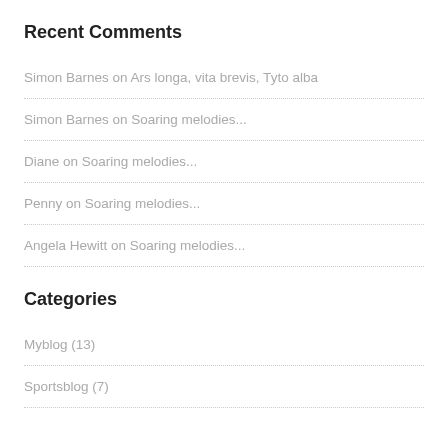Recent Comments
Simon Barnes on Ars longa, vita brevis, Tyto alba
Simon Barnes on Soaring melodies...
Diane on Soaring melodies...
Penny on Soaring melodies...
Angela Hewitt on Soaring melodies...
Categories
Myblog (13)
Sportsblog (7)